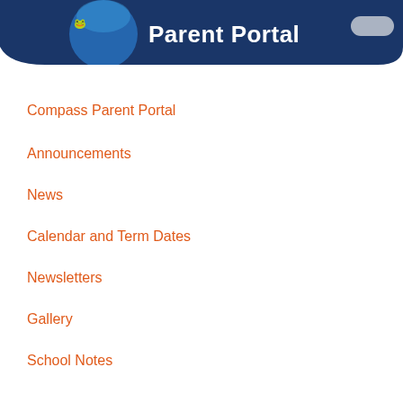[Figure (screenshot): School Parent Portal app header banner with dark navy blue rounded bottom shape, school logo on left, and 'Parent Portal' text in white]
Compass Parent Portal
Announcements
News
Calendar and Term Dates
Newsletters
Gallery
School Notes